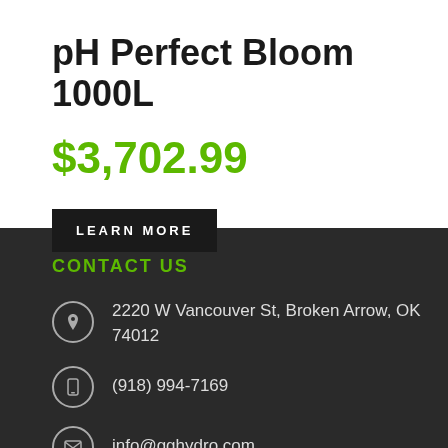pH Perfect Bloom 1000L
$3,702.99
LEARN MORE
CONTACT US
2220 W Vancouver St, Broken Arrow, OK 74012
(918) 994-7169
info@gghydro.com